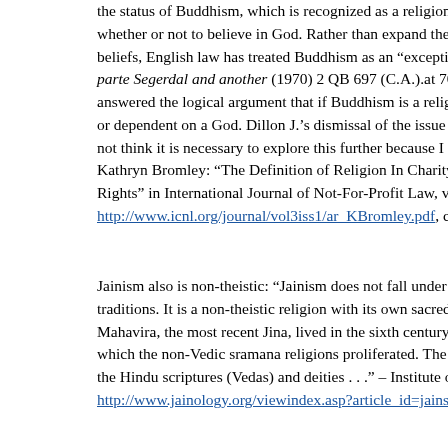the status of Buddhism, which is recognized as a religion even to whether or not to believe in God. Rather than expand the meani beliefs, English law has treated Buddhism as an "exceptional ca parte Segerdal and another (1970) 2 QB 697 (C.A.).at 707]. Th answered the logical argument that if Buddhism is a religion, re or dependent on a God. Dillon J.'s dismissal of the issue in Sout not think it is necessary to explore this further because I do not Kathryn Bromley: "The Definition of Religion In Charity Law i Rights" in International Journal of Not-For-Profit Law, vol. 3 is http://www.icnl.org/journal/vol3iss1/ar_KBromley.pdf, consulte
Jainism also is non-theistic: "Jainism does not fall under the bro traditions. It is a non-theistic religion with its own sacred texts a Mahavira, the most recent Jina, lived in the sixth century BCE i which the non-Vedic sramana religions proliferated. The sraman the Hindu scriptures (Vedas) and deities . . ." – Institute of Jainc http://www.jainology.org/viewindex.asp?article_id=jainsutrasAl